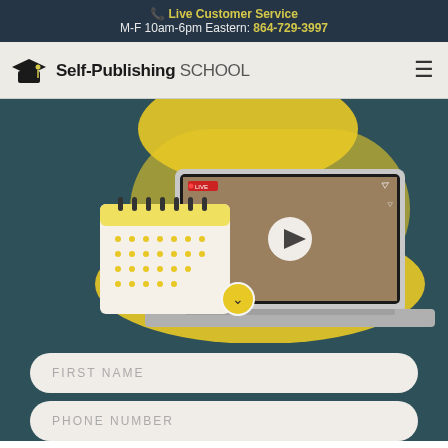📞 Live Customer Service
M-F 10am-6pm Eastern: 864-729-3997
[Figure (logo): Self-Publishing School logo with graduation cap icon and text 'Self-Publishing SCHOOL']
[Figure (illustration): Hero section with teal background showing a laptop with a live video playing (person waving), a calendar icon, yellow blob shapes, and a play button overlay]
FIRST NAME
PHONE NUMBER